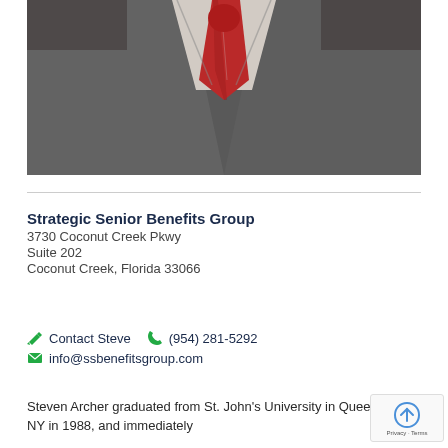[Figure (photo): Professional headshot/portrait of a man in a gray suit with a red striped tie, cropped to show torso and lower face area]
Strategic Senior Benefits Group
3730 Coconut Creek Pkwy
Suite 202
Coconut Creek, Florida 33066
Contact Steve   (954) 281-5292
info@ssbenefitsgroup.com
Steven Archer graduated from St. John's University in Queens, NY in 1988, and immediately